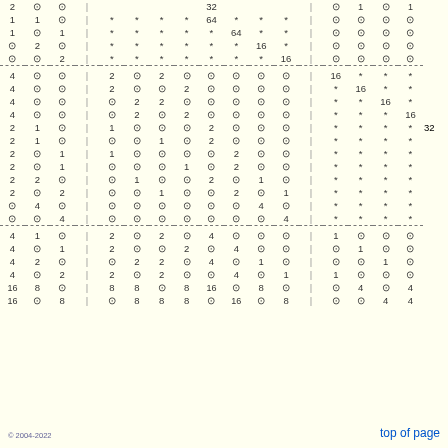| 2 | ⊙ | ⊙ | | |  |  |  |  | 32 |  |  |  | | | ⊙ | 1 | ⊙ | 1 |
| 1 | 1 | ⊙ | | | * | * | * | * | 64 | * | * | * | | | ⊙ | ⊙ | ⊙ | ⊙ |
| 1 | ⊙ | 1 | | | * | * | * | * | * | 64 | * | * | | | ⊙ | ⊙ | ⊙ | ⊙ |
| ⊙ | 2 | ⊙ | | | * | * | * | * | * | * | 16 | * | | | ⊙ | ⊙ | ⊙ | ⊙ |
| ⊙ | ⊙ | 2 | | | * | * | * | * | * | * | * | 16 | | | ⊙ | ⊙ | ⊙ | ⊙ |
| --- |
| 4 | ⊙ | ⊙ | | | 2 | ⊙ | 2 | ⊙ | ⊙ | ⊙ | ⊙ | ⊙ | | | 16 | * | * | * |
| 4 | ⊙ | ⊙ | | | 2 | ⊙ | ⊙ | 2 | ⊙ | ⊙ | ⊙ | ⊙ | | | * | 16 | * | * |
| 4 | ⊙ | ⊙ | | | ⊙ | 2 | 2 | ⊙ | ⊙ | ⊙ | ⊙ | ⊙ | | | * | * | 16 | * |
| 4 | ⊙ | ⊙ | | | ⊙ | 2 | ⊙ | 2 | ⊙ | ⊙ | ⊙ | ⊙ | | | * | * | * | 16 |
| 2 | 1 | ⊙ | | | 1 | ⊙ | ⊙ | ⊙ | 2 | ⊙ | ⊙ | ⊙ | | | * | * | * | * | 32 |
| 2 | 1 | ⊙ | | | ⊙ | ⊙ | 1 | ⊙ | 2 | ⊙ | ⊙ | ⊙ | | | * | * | * | * |
| 2 | ⊙ | 1 | | | 1 | ⊙ | ⊙ | ⊙ | ⊙ | 2 | ⊙ | ⊙ | | | * | * | * | * |
| 2 | ⊙ | 1 | | | ⊙ | ⊙ | ⊙ | 1 | ⊙ | 2 | ⊙ | ⊙ | | | * | * | * | * |
| 2 | 2 | ⊙ | | | ⊙ | 1 | ⊙ | ⊙ | 2 | ⊙ | 1 | ⊙ | | | * | * | * | * |
| 2 | ⊙ | 2 | | | ⊙ | ⊙ | 1 | ⊙ | ⊙ | 2 | ⊙ | 1 | | | * | * | * | * |
| ⊙ | 4 | ⊙ | | | ⊙ | ⊙ | ⊙ | ⊙ | ⊙ | ⊙ | 4 | ⊙ | | | * | * | * | * |
| ⊙ | ⊙ | 4 | | | ⊙ | ⊙ | ⊙ | ⊙ | ⊙ | ⊙ | ⊙ | 4 | | | * | * | * | * |
| --- |
| 4 | 1 | ⊙ | | | 2 | ⊙ | 2 | ⊙ | 4 | ⊙ | ⊙ | ⊙ | | | 1 | ⊙ | ⊙ | ⊙ |
| 4 | ⊙ | 1 | | | 2 | ⊙ | ⊙ | 2 | ⊙ | 4 | ⊙ | ⊙ | | | ⊙ | 1 | ⊙ | ⊙ |
| 4 | 2 | ⊙ | | | ⊙ | 2 | 2 | ⊙ | 4 | ⊙ | 1 | ⊙ | | | ⊙ | ⊙ | 1 | ⊙ |
| 4 | ⊙ | 2 | | | 2 | ⊙ | 2 | ⊙ | ⊙ | 4 | ⊙ | 1 | | | 1 | ⊙ | ⊙ | ⊙ |
| 16 | 8 | ⊙ | | | 8 | 8 | ⊙ | 8 | 16 | ⊙ | 8 | ⊙ | | | ⊙ | 4 | ⊙ | 4 |
| 16 | ⊙ | 8 | | | ⊙ | 8 | 8 | 8 | ⊙ | 16 | ⊙ | 8 | | | ⊙ | ⊙ | 4 | 4 |
© 2004-2022
top of page